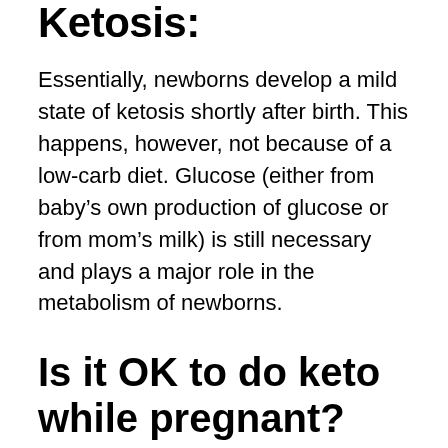Ketosis:
Essentially, newborns develop a mild state of ketosis shortly after birth. This happens, however, not because of a low-carb diet. Glucose (either from baby's own production of glucose or from mom's milk) is still necessary and plays a major role in the metabolism of newborns.
Is it OK to do keto while pregnant?
A true keto diet, in which you severely limit carbohydrates, is not recommended. While there are always exceptions to the rule, women should avoid a keto diet when they're trying to conceive, pregnant, or